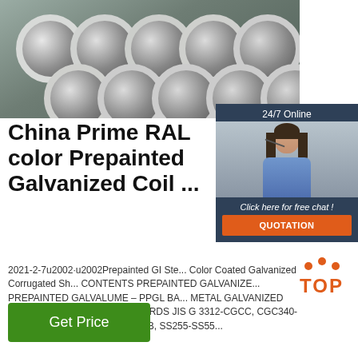[Figure (photo): Photo of white/silver steel pipes stacked together viewed from the end, showing circular cross-sections on a grey background]
China Prime RAL color Prepainted Galvanized Coil ...
2021-2-7u2002·u2002Prepainted GI Ste... Color Coated Galvanized Corrugated Sh... CONTENTS PREPAINTED GALVANIZE... PREPAINTED GALVALUME – PPGL BA... METAL GALVANIZED GALVALUME ALUZINC STANDARDS JIS G 3312-CGCC, CGC340-570, (G550), ASTM A -755M CS-B, SS255-SS55...
[Figure (photo): Customer service agent (woman with headset) in a 24/7 online chat widget with dark blue background, 'Click here for free chat!' prompt and orange QUOTATION button]
Get Price